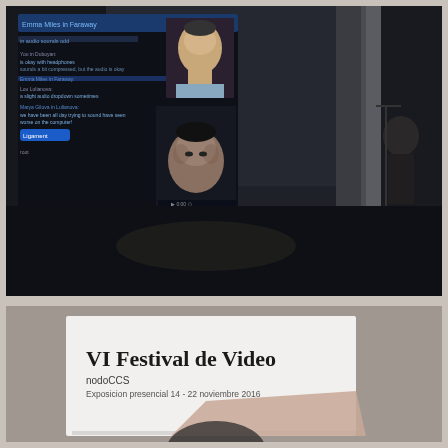[Figure (photo): Dark exhibition room with video projections on walls showing a person's face and a chat/text interface with blue highlighted text. The room has a dark floor with a light reflection spot visible.]
[Figure (photo): Photo of a printed booklet/program on a table. The text reads 'VI Festival de Video', 'nodoCCS', 'Exposicion presencial 14 - 22 noviembre 2016'. A partial circular shape is visible at the bottom of the booklet.]